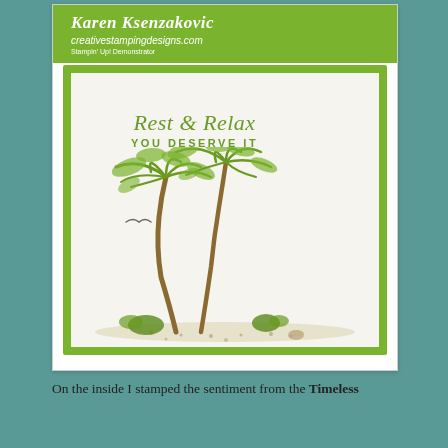[Figure (photo): A handmade greeting card photographed open, showing a green-bordered card with a cream/off-white inner panel. The card features stamped palm trees in olive/yellow-green ink on the lower left, a small seagull, ground foliage, and the sentiment 'Rest & Relax YOU DESERVE IT' in olive green. The card is displayed on a green folded card base. At the top is a green header bar with the watermark 'Karen Ksenzakovic' in white italic script, 'creativestampingdesigns.com' in white italic, and a small subtitle line.]
On the inside I stamped the sentiment from the Timeless